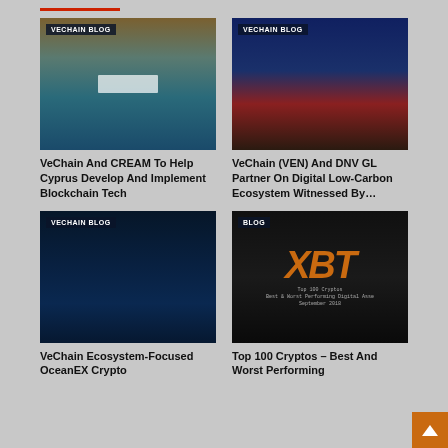[Figure (photo): Blog card image: rocky coastal cliff with turquoise water pool. Badge reads 'VECHAIN BLOG'.]
VeChain And CREAM To Help Cyprus Develop And Implement Blockchain Tech
[Figure (photo): Blog card image: conference stage with panelists, blue and red lighting. Badge reads 'VECHAIN BLOG'.]
VeChain (VEN) And DNV GL Partner On Digital Low-Carbon Ecosystem Witnessed By…
[Figure (photo): Blog card image: ocean waves, dark deep blue tones. Badge reads 'VECHAIN BLOG'.]
VeChain Ecosystem-Focused OceanEX Crypto
[Figure (photo): Blog card image: dark background with orange XBT logo and text 'Top 100 Cryptos Best & Worst Performing Digital Assets September 2018'. Badge reads 'BLOG'.]
Top 100 Cryptos – Best And Worst Performing